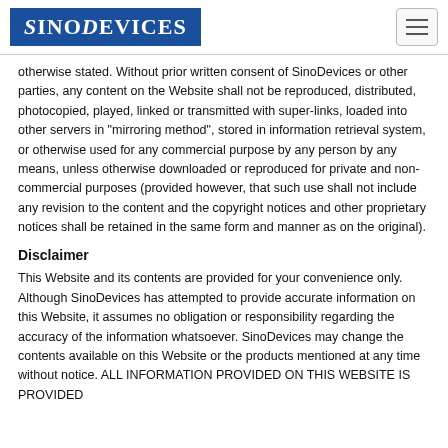SinoDevices
otherwise stated. Without prior written consent of SinoDevices or other parties, any content on the Website shall not be reproduced, distributed, photocopied, played, linked or transmitted with super-links, loaded into other servers in "mirroring method", stored in information retrieval system, or otherwise used for any commercial purpose by any person by any means, unless otherwise downloaded or reproduced for private and non-commercial purposes (provided however, that such use shall not include any revision to the content and the copyright notices and other proprietary notices shall be retained in the same form and manner as on the original).
Disclaimer
This Website and its contents are provided for your convenience only. Although SinoDevices has attempted to provide accurate information on this Website, it assumes no obligation or responsibility regarding the accuracy of the information whatsoever. SinoDevices may change the contents available on this Website or the products mentioned at any time without notice. ALL INFORMATION PROVIDED ON THIS WEBSITE IS PROVIDED